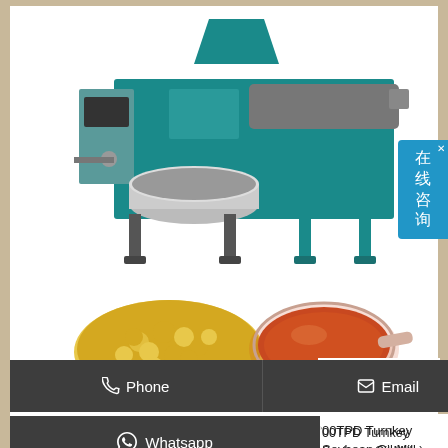[Figure (photo): Industrial screw oil press machine in teal/green color with stainless steel filter pot, control panel on the left side, on white background]
[Figure (photo): Two product images: left shows a pile of yellow soybeans, right shows a spoonful of amber/red oil]
[Figure (other): Chinese online consultation popup button in blue on the right side, with text 在线咨询]
e for vent
Phone   Email
Whatsapp
00TPD Turnkey Soybean Oil Mill   ) Tips on Buying Small Soybean Oil Machine If you want to buy a screw oil press for